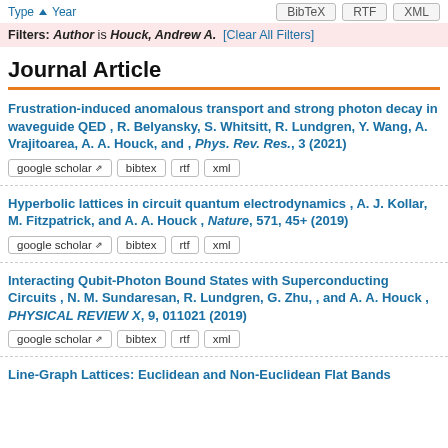Type ▲ Year | BibTeX | RTF | XML
Filters: Author is Houck, Andrew A. [Clear All Filters]
Journal Article
Frustration-induced anomalous transport and strong photon decay in waveguide QED, R. Belyansky, S. Whitsitt, R. Lundgren, Y. Wang, A. Vrajitoarea, A. A. Houck, and , Phys. Rev. Res., 3 (2021)
google scholar | bibtex | rtf | xml
Hyperbolic lattices in circuit quantum electrodynamics, A. J. Kollar, M. Fitzpatrick, and A. A. Houck , Nature, 571, 45+ (2019)
google scholar | bibtex | rtf | xml
Interacting Qubit-Photon Bound States with Superconducting Circuits, N. M. Sundaresan, R. Lundgren, G. Zhu, , and A. A. Houck , PHYSICAL REVIEW X, 9, 011021 (2019)
google scholar | bibtex | rtf | xml
Line-Graph Lattices: Euclidean and Non-Euclidean Flat Bands